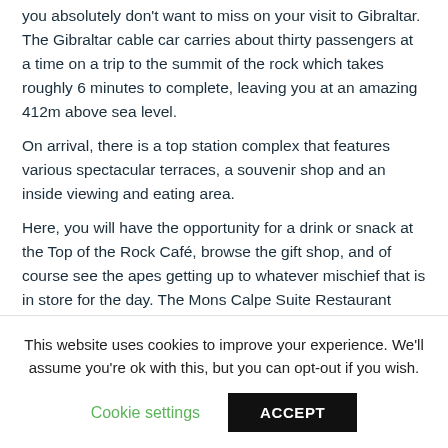you absolutely don't want to miss on your visit to Gibraltar. The Gibraltar cable car carries about thirty passengers at a time on a trip to the summit of the rock which takes roughly 6 minutes to complete, leaving you at an amazing 412m above sea level.
On arrival, there is a top station complex that features various spectacular terraces, a souvenir shop and an inside viewing and eating area.
Here, you will have the opportunity for a drink or snack at the Top of the Rock Café, browse the gift shop, and of course see the apes getting up to whatever mischief that is in store for the day. The Mons Calpe Suite Restaurant
This website uses cookies to improve your experience. We'll assume you're ok with this, but you can opt-out if you wish.
Cookie settings
ACCEPT